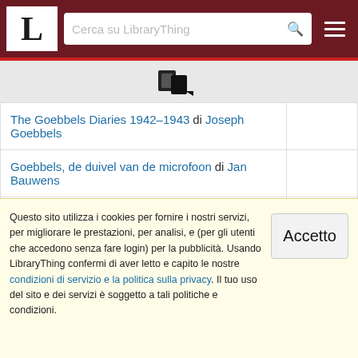LibraryThing — Cerca su LibraryThing
[Figure (logo): LibraryThing logo with letter L and book/pages icon]
| Title |  |
| --- | --- |
| The Goebbels Diaries 1942–1943 di Joseph Goebbels |  |
| Goebbels, de duivel van de microfoon di Jan Bauwens |  |
| The Golden Age Green Lantern Archives, Volume 2 di Bill Finger |  |
| The Good Fight: How World War II Was Won di Stephen E. Ambrose |  |
| The Good Soci... di Wal... |  |
Questo sito utilizza i cookies per fornire i nostri servizi, per migliorare le prestazioni, per analisi, e (per gli utenti che accedono senza fare login) per la pubblicità. Usando LibraryThing confermi di aver letto e capito le nostre condizioni di servizio e la politica sulla privacy. Il tuo uso del sito e dei servizi è soggetto a tali politiche e condizioni.